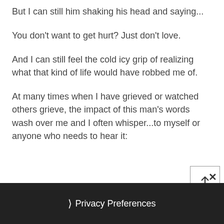But I can still him shaking his head and saying...
You don't want to get hurt? Just don't love.
And I can still feel the cold icy grip of realizing what that kind of life would have robbed me of.
At many times when I have grieved or watched others grieve, the impact of this man's words wash over me and I often whisper...to myself or anyone who needs to hear it:
Privacy Preferences